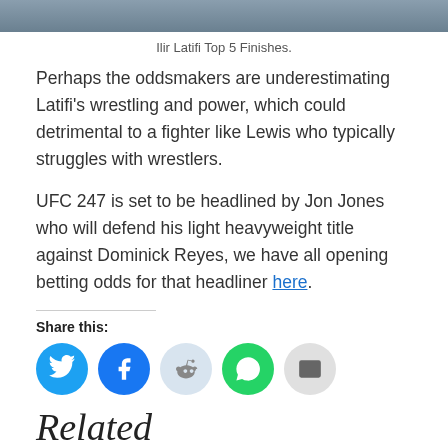[Figure (photo): Top portion of a photo showing Ilir Latifi, cropped at the top of the page]
Ilir Latifi Top 5 Finishes.
Perhaps the oddsmakers are underestimating Latifi’s wrestling and power, which could detrimental to a fighter like Lewis who typically struggles with wrestlers.
UFC 247 is set to be headlined by Jon Jones who will defend his light heavyweight title against Dominick Reyes, we have all opening betting odds for that headliner here.
Share this:
[Figure (infographic): Row of social share buttons: Twitter (blue), Facebook (blue), Reddit (light blue), WhatsApp (green), Email (grey)]
Related